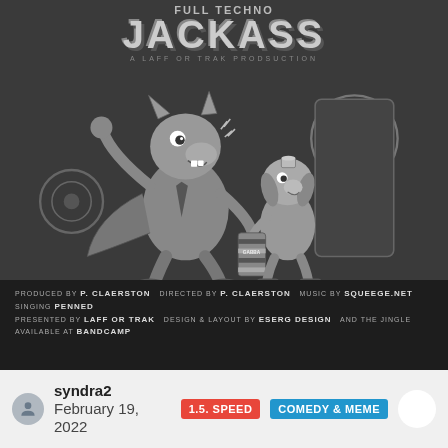[Figure (illustration): Retro cartoon-style illustration in grayscale showing two animated animal characters. The title reads 'FULL TECHNO JACKASS - A LAFF OR TRAK PRODSUCTION'. One character is a tall wily coyote-like figure, the other is a smaller dog-like character holding a 'GABBA' labeled container/can. Background includes large speaker/equipment shapes. Credits at bottom mention P. CLAERSTON as producer and director, SQUEEGE.NET for music, PENNED for singing, LAFF OR TRAK for presentation, ESERG DESIGN for design, and BANDCAMP for distribution.]
syndra2   February 19, 2022
1.5. SPEED
COMEDY & MEME